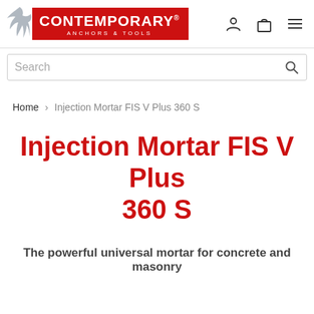Contemporary Anchors & Tools — site header with logo, search bar
Home › Injection Mortar FIS V Plus 360 S
Injection Mortar FIS V Plus 360 S
The powerful universal mortar for concrete and masonry